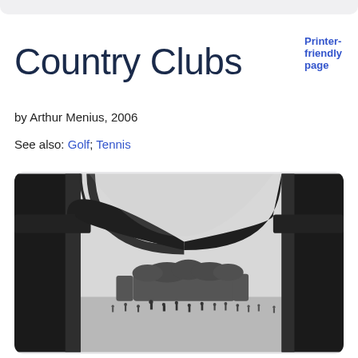Printer-friendly page
Country Clubs
by Arthur Menius, 2006
See also: Golf; Tennis
[Figure (photo): Black and white photograph viewed through stone arches/columns of a country club building, looking out over a golf course with small figures of people in the distance and trees on the horizon.]